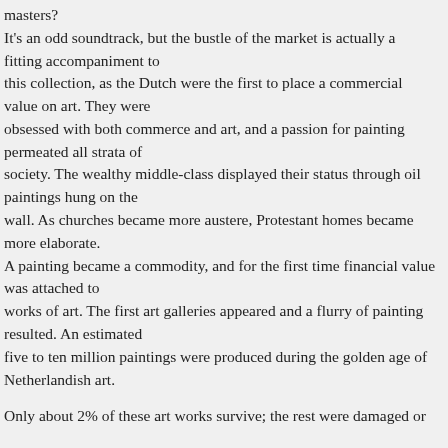masters? It's an odd soundtrack, but the bustle of the market is actually a fitting accompaniment to this collection, as the Dutch were the first to place a commercial value on art. They were obsessed with both commerce and art, and a passion for painting permeated all strata of society. The wealthy middle-class displayed their status through oil paintings hung on the wall. As churches became more austere, Protestant homes became more elaborate. A painting became a commodity, and for the first time financial value was attached to works of art. The first art galleries appeared and a flurry of painting resulted. An estimated five to ten million paintings were produced during the golden age of Netherlandish art.
Only about 2% of these art works survive; the rest were damaged or